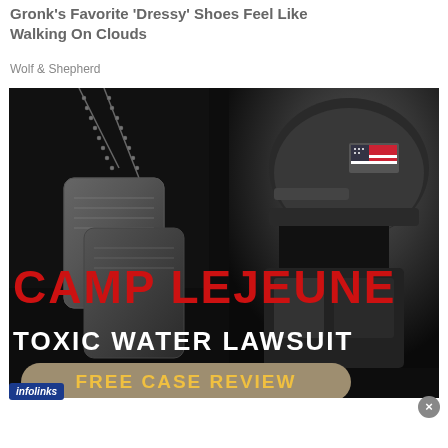Gronk's Favorite 'Dressy' Shoes Feel Like Walking On Clouds
Wolf & Shepherd
[Figure (screenshot): Camp Lejeune Toxic Water Lawsuit advertisement with dog tags and soldier in helmet on dark background, with 'FREE CASE REVIEW' button]
[Figure (screenshot): Seamless food delivery banner ad with pizza image on left, Seamless logo in center, and ORDER NOW button on right, with infolinks badge]